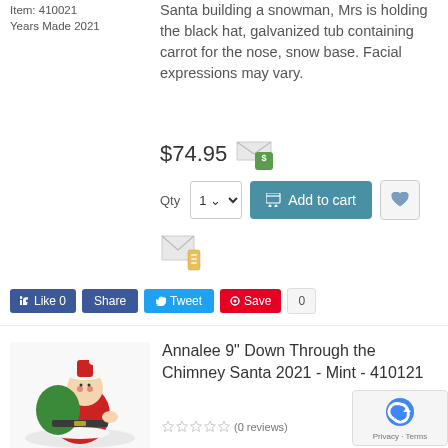Item: 410021
Years Made 2021
Santa building a snowman, Mrs is holding the black hat, galvanized tub containing carrot for the nose, snow base. Facial expressions may vary.
$74.95
Add to cart
Like 0  Share  Tweet  Save  0
[Figure (photo): Santa Claus figurine carrying a green bag, going down chimney]
Annalee 9" Down Through the Chimney Santa 2021 - Mint - 410121
(0 reviews)